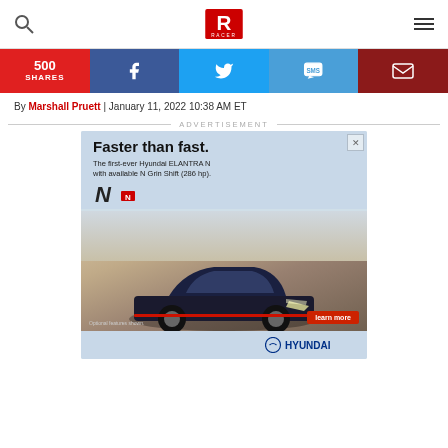RACER - navigation header with search and menu icons
[Figure (infographic): Social share bar with 500 SHARES (red), Facebook (blue), Twitter (light blue), SMS (blue), Email (dark red) buttons]
By Marshall Pruett | January 11, 2022 10:38 AM ET
ADVERTISEMENT
[Figure (photo): Hyundai advertisement: 'Faster than fast. The first-ever Hyundai ELANTRA N with available N Grin Shift (286 hp).' Shows Hyundai Elantra N car on desert road. Includes N logo, 'learn more' button, and Hyundai logo. Optional features shown.]